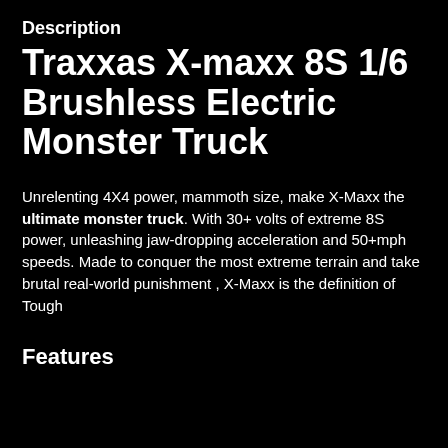Description
Traxxas X-maxx 8S 1/6 Brushless Electric Monster Truck
Unrelenting 4X4 power, mammoth size, make X-Maxx the ultimate monster truck. With 30+ volts of extreme 8S power, unleashing jaw-dropping acceleration and 50+mph speeds. Made to conquer the most extreme terrain and take brutal real-world punishment , X-Maxx is the definition of Tough
Features